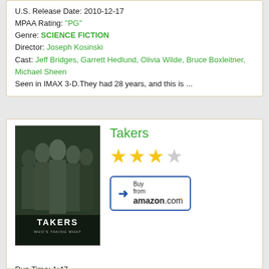U.S. Release Date: 2010-12-17
MPAA Rating: "PG"
Genre: SCIENCE FICTION
Director: Joseph Kosinski
Cast: Jeff Bridges, Garrett Hedlund, Olivia Wilde, Bruce Boxleitner, Michael Sheen
Seen in IMAX 3-D.They had 28 years, and this is ...
Takers
[Figure (photo): Movie poster for Takers showing several men in suits]
[Figure (other): 3.5 out of 5 stars rating (3 full gold stars, 1 empty/grey star)]
[Figure (other): Buy from amazon.com button]
Run Time: 1:47
U.S. Release Date: 2010-08-27
MPAA Rating: "PG-13" & Violence, Profanity, Nudity?